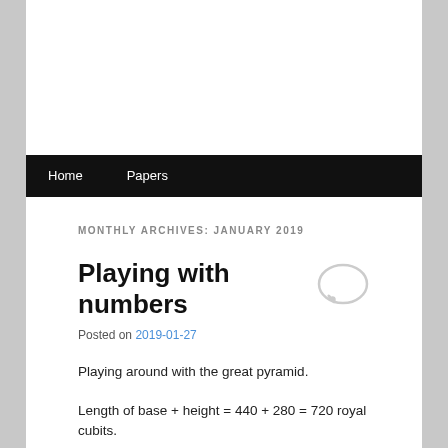Home   Papers
MONTHLY ARCHIVES: JANUARY 2019
Playing with numbers
Posted on 2019-01-27
Playing around with the great pyramid.
Length of base + height = 440 + 280 = 720 royal cubits.